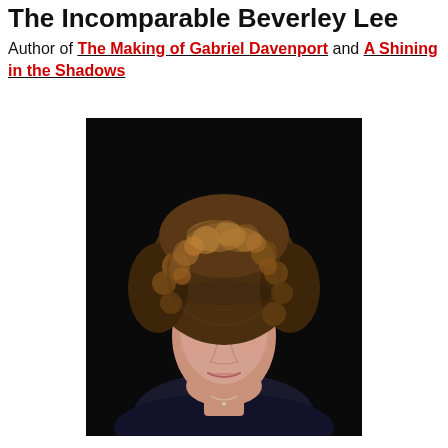The Incomparable Beverley Lee
Author of The Making of Gabriel Davenport and A Shining in the Shadows
[Figure (photo): Professional headshot of Beverley Lee, a woman with curly golden-brown hair, pale skin, and light eyes, wearing a dark top, against a black background.]